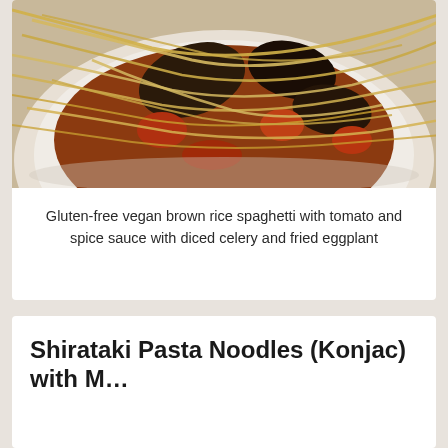[Figure (photo): Photo of gluten-free vegan brown rice spaghetti with tomato and spice sauce with diced celery and fried eggplant served on a white plate]
Gluten-free vegan brown rice spaghetti with tomato and spice sauce with diced celery and fried eggplant
Shirataki Pasta Noodles (Konjac) with M…